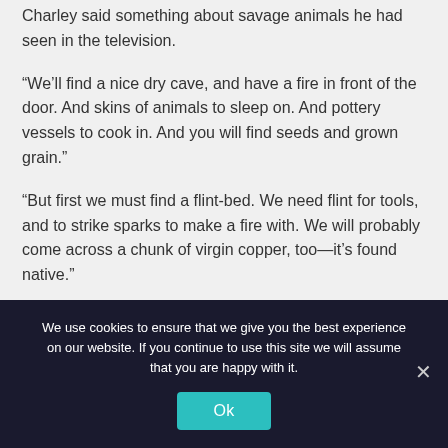Charley said something about savage animals he had seen in the television.
“We’ll find a nice dry cave, and have a fire in front of the door. And skins of animals to sleep on. And pottery vessels to cook in. And you will find seeds and grown grain.”
“But first we must find a flint-bed. We need flint for tools, and to strike sparks to make a fire with. We will probably come across a chunk of virgin copper, too—it’s found native.”
We use cookies to ensure that we give you the best experience on our website. If you continue to use this site we will assume that you are happy with it.
Ok